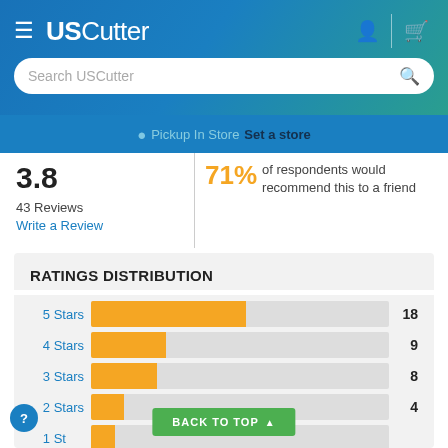USCutter
Search USCutter
Pickup In Store  Set a store
3.8
43 Reviews
Write a Review
71% of respondents would recommend this to a friend
RATINGS DISTRIBUTION
[Figure (bar-chart): Ratings Distribution]
BACK TO TOP ▲